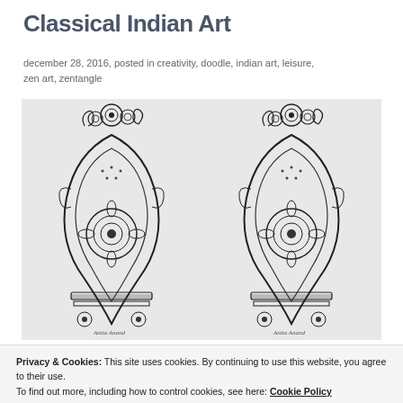Classical Indian Art
december 28, 2016, posted in creativity, doodle, indian art, leisure, zen art, zentangle
[Figure (illustration): Two side-by-side black and white detailed zentangle / classical Indian art illustrations featuring intricate floral, paisley, and mandala doodle patterns drawn in pen and ink.]
Privacy & Cookies: This site uses cookies. By continuing to use this website, you agree to their use. To find out more, including how to control cookies, see here: Cookie Policy
Classical Indian Art | NO ERA...